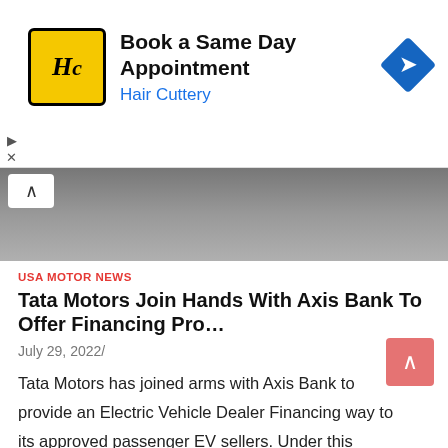[Figure (infographic): Hair Cuttery advertisement banner: yellow/black HC logo, 'Book a Same Day Appointment' headline, 'Hair Cuttery' in blue, blue diamond arrow icon on right]
[Figure (photo): Partial photo showing a dark/grey vehicle roof, with a white collapse/chevron button top-left]
USA MOTOR NEWS
Tata Motors Join Hands With Axis Bank To Offer Financing Pro…
July 29, 2022/
Tata Motors has joined arms with Axis Bank to provide an Electric Vehicle Dealer Financing way to its approved passenger EV sellers. Under this scheme, sellers can avail of stock…
Share this: